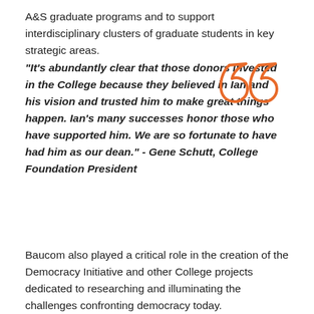A&S graduate programs and to support interdisciplinary clusters of graduate students in key strategic areas.
“It’s abundantly clear that those donors invested in the College because they believed in Ian and his vision and trusted him to make great things happen. Ian’s many successes honor those who have supported him. We are so fortunate to have had him as our dean.” - Gene Schutt, College Foundation President
Baucom also played a critical role in the creation of the Democracy Initiative and other College projects dedicated to researching and illuminating the challenges confronting democracy today.